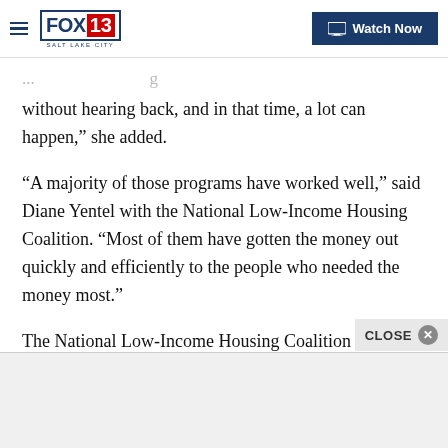FOX 13 SALT LAKE CITY | Watch Now
without hearing back, and in that time, a lot can happen,” she added.
"A majority of those programs have worked well,” said Diane Yentel with the National Low-Income Housing Coalition. “Most of them have gotten the money out quickly and efficiently to the people who needed the money most."
The National Low-Income Housing Coalition has followed rent-relief distribution around the country